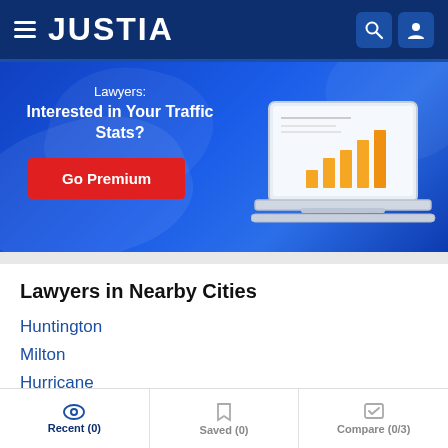JUSTIA
[Figure (screenshot): Justia promotional banner with 'Lawyers: Interested in Your Traffic Stats?' headline, a red 'Go Premium' button, and a laptop illustration showing bar charts]
Lawyers in Nearby Cities
Huntington
Milton
Hurricane
Wayne
Recent (0)   Saved (0)   Compare (0/3)